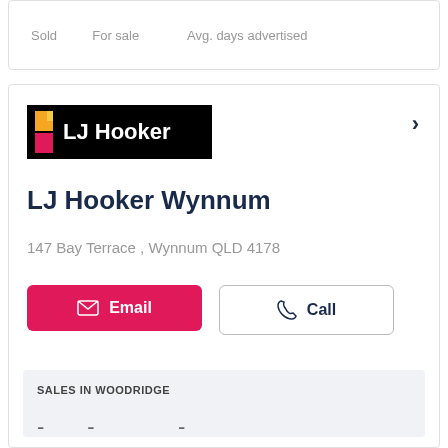| Sold | For sale | Avg. days advertised |
| --- | --- | --- |
[Figure (logo): LJ Hooker real estate agency logo — black background with orange/yellow/red rectangular icon and white text 'LJ Hooker']
LJ Hooker Wynnum
147 Bay Terrace , Wynnum QLD 4178
Email
Call
SALES IN WOODRIDGE
| Sold | For sale | Avg. days advertised |
| --- | --- | --- |
| - | - | - |